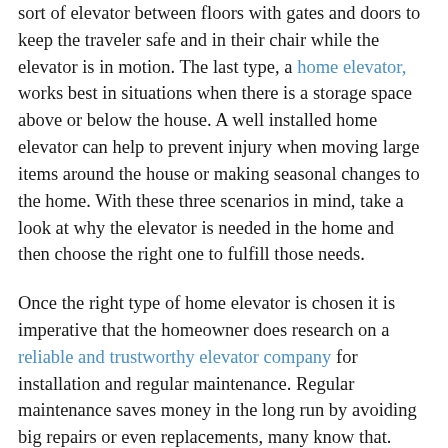sort of elevator between floors with gates and doors to keep the traveler safe and in their chair while the elevator is in motion. The last type, a home elevator, works best in situations when there is a storage space above or below the house. A well installed home elevator can help to prevent injury when moving large items around the house or making seasonal changes to the home. With these three scenarios in mind, take a look at why the elevator is needed in the home and then choose the right one to fulfill those needs.
Once the right type of home elevator is chosen it is imperative that the homeowner does research on a reliable and trustworthy elevator company for installation and regular maintenance. Regular maintenance saves money in the long run by avoiding big repairs or even replacements, many know that. However, a quality elevator company will be straightforward right from the installation and possible save money right from the get go. A professional elevator technician will know the exact